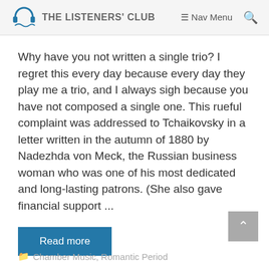THE LISTENERS' CLUB  ≡ Nav Menu  🔍
Why have you not written a single trio? I regret this every day because every day they play me a trio, and I always sigh because you have not composed a single one. This rueful complaint was addressed to Tchaikovsky in a letter written in the autumn of 1880 by Nadezhda von Meck, the Russian business woman who was one of his most dedicated and long-lasting patrons. (She also gave financial support ...
Read more
Chamber Music, Romantic Period